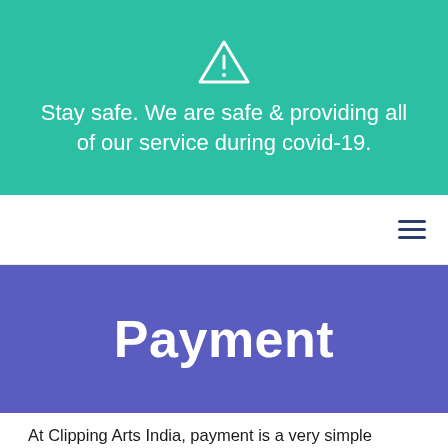Stay safe. We are safe & providing all of our service during covid-19.
[Figure (screenshot): Hamburger menu icon (three horizontal lines) in dark blue on white navigation bar]
Payment
At Clipping Arts India, payment is a very simple process, and CAI is dedicated to providing peace